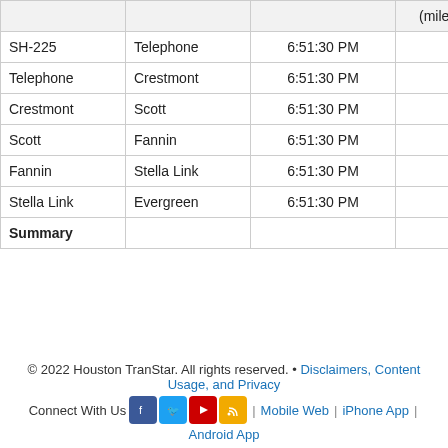|  |  |  | (miles) | Time(m:ss) |
| --- | --- | --- | --- | --- |
| SH-225 | Telephone | 6:51:30 PM | 3.20 | 2:4 |
| Telephone | Crestmont | 6:51:30 PM | 1.40 | 1:2 |
| Crestmont | Scott | 6:51:30 PM | 2.10 | 2:0 |
| Scott | Fannin | 6:51:30 PM | 2.20 | 2:3 |
| Fannin | Stella Link | 6:51:30 PM | 2.20 | 2:0 |
| Stella Link | Evergreen | 6:51:30 PM | 2.10 | 2:0 |
| Summary |  |  | 13.2 | 12:5 |
© 2022 Houston TranStar. All rights reserved. • Disclaimers, Content Usage, and Privacy | Connect With Us | Mobile Web | iPhone App | Android App